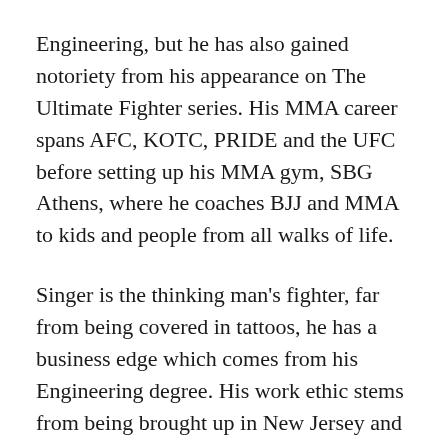Engineering, but he has also gained notoriety from his appearance on The Ultimate Fighter series. His MMA career spans AFC, KOTC, PRIDE and the UFC before setting up his MMA gym, SBG Athens, where he coaches BJJ and MMA to kids and people from all walks of life.
Singer is the thinking man's fighter, far from being covered in tattoos, he has a business edge which comes from his Engineering degree. His work ethic stems from being brought up in New Jersey and watching his mother sometimes do a 4 hour round commute to Manhattan to work to provide everything the family needed. He has one of the most successful Gyms in Georgia (Athens), bringing UFC superstars through their ranks, like Forest